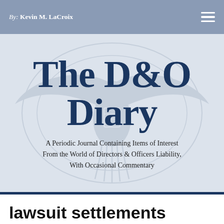By: Kevin M. LaCroix
The D&O Diary
A Periodic Journal Containing Items of Interest From the World of Directors & Officers Liability, With Occasional Commentary
lawsuit settlements